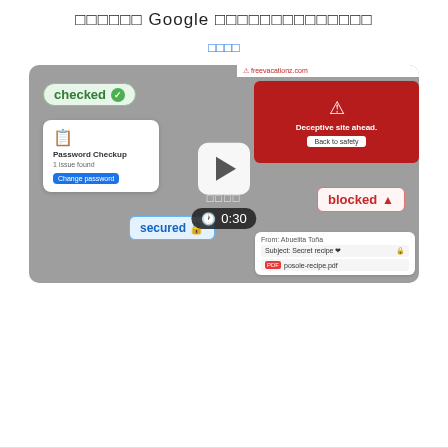□□□□□□ Google □□□□□□□□□□□□□□
□□□□
[Figure (screenshot): Google safety features video thumbnail showing 'checked', 'blocked', 'secured' badges, Password Checkup card, Deceptive site warning, email with secret recipe, play button, and 0:30 timer]